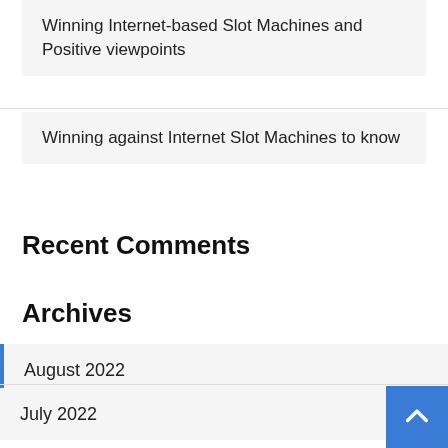Winning Internet-based Slot Machines and Positive viewpoints
Winning against Internet Slot Machines to know
Recent Comments
Archives
August 2022
July 2022